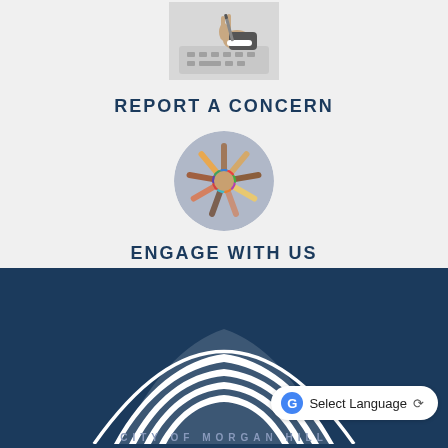[Figure (photo): Person typing on a keyboard, viewed from above, business setting]
REPORT A CONCERN
[Figure (photo): Circular photo of diverse hands joined together in the center]
ENGAGE WITH US
[Figure (logo): City of Morgan Hill logo — white wave/mountain graphic on dark navy blue background]
Select Language